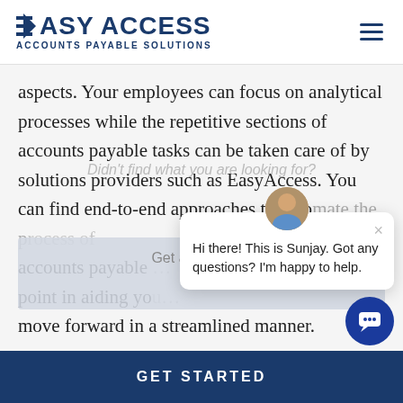[Figure (logo): Easy Access Accounts Payable Solutions logo with blue arrow/lines and bold text]
aspects. Your employees can focus on analytical processes while the repetitive sections of accounts payable tasks can be taken care of by solutions providers such as EasyAccess. You can find end-to-end approaches to automate the process of accounts payable... point in aiding you... move forward in a streamlined manner.
Didn't find what you are looking for?
Get a Call Back
Hi there! This is Sunjay. Got any questions? I'm happy to help.
GET STARTED